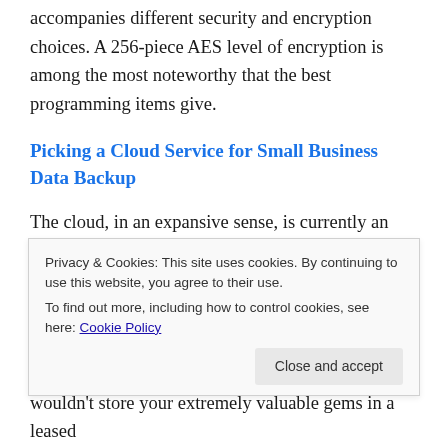accompanies different security and encryption choices. A 256-piece AES level of encryption is among the most noteworthy that the best programming items give.
Picking a Cloud Service for Small Business Data Backup
The cloud, in an expansive sense, is currently an umbrella term for a few distinct sorts of § that have boundlessly extraordinary utilizations, so it's vital to pick the correct service for the correct reason. In the event that your essential objective is to backup and
Privacy & Cookies: This site uses cookies. By continuing to use this website, you agree to their use.
To find out more, including how to control cookies, see here: Cookie Policy
wouldn't store your extremely valuable gems in a leased